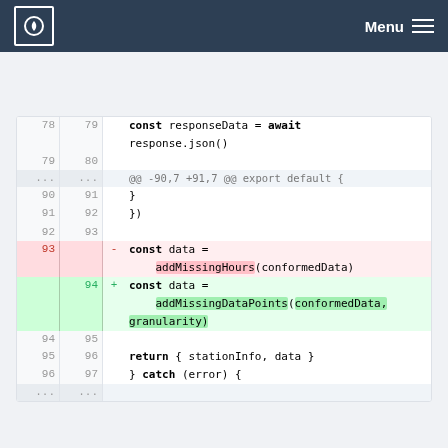Menu
[Figure (screenshot): Code diff view showing lines 78-97 of a JavaScript file with a deletion of addMissingHours(conformedData) and addition of addMissingDataPoints(conformedData, granularity)]
config/example/texts.js
@@ -8,9 +8,15 @@ export const texts